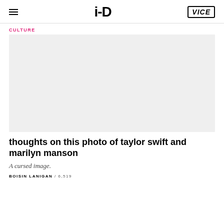i-D  VICE
CULTURE
[Figure (photo): Light grey placeholder image, likely a photo of Taylor Swift and Marilyn Manson]
thoughts on this photo of taylor swift and marilyn manson
A cursed image.
BOISIN LANIGAN / 6,519